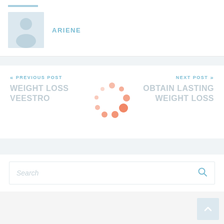[Figure (illustration): Blue decorative bar above author section]
[Figure (illustration): Gray avatar placeholder image with silhouette of a person]
ARIENE
« PREVIOUS POST
WEIGHT LOSS VEESTRO
[Figure (illustration): Orange circular loading spinner animation dots arranged in a circle]
NEXT POST »
OBTAIN LASTING WEIGHT LOSS
Search